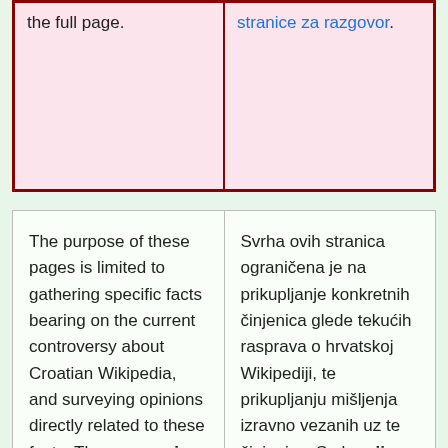| the full page. | stranice za razgovor. |
| The purpose of these pages is limited to gathering specific facts bearing on the current controversy about Croatian Wikipedia, and surveying opinions directly related to these facts. The purpose is not to arrive at general conclusions about these facts, but to create a | Svrha ovih stranica ograničena je na prikupljanje konkretnih činjenica glede tekućih rasprava o hrvatskoj Wikipediji, te prikupljanju mišljenja izravno vezanih uz te činjenice. Svrha nije donošenje općih zaključaka o tim činjenicama, već stvaranje |